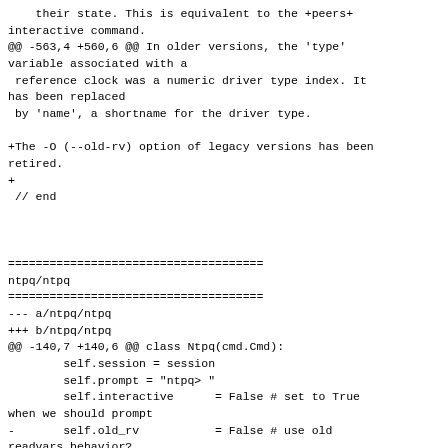their state. This is equivalent to the +peers+
interactive command.
@@ -563,4 +560,6 @@ In older versions, the 'type'
variable associated with a
 reference clock was a numeric driver type index. It
has been replaced
 by 'name', a shortname for the driver type.

+The -O (--old-rv) option of legacy versions has been
retired.
+
 // end



=====================================
ntpq/ntpq
=====================================
--- a/ntpq/ntpq
+++ b/ntpq/ntpq
@@ -140,7 +140,6 @@ class Ntpq(cmd.Cmd):
        self.session = session
        self.prompt = "ntpq> "
        self.interactive      = False # set to True
when we should prompt
-       self.old_rv          = False # use old
readvars behavior?
        #self.auth_keyid   = 0        # Keyid used
for authentication.
        #self.auth_keytype = "NID_md5" # MD5 (FIXME:
string value is a dummy)